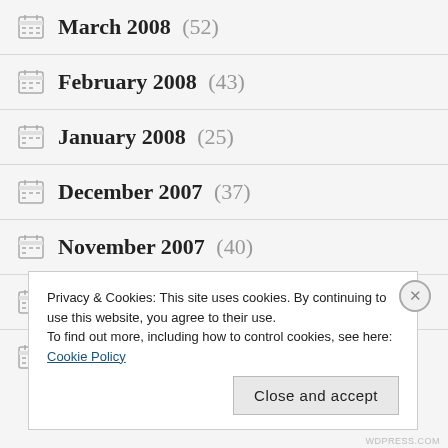March 2008 (52)
February 2008 (43)
January 2008 (25)
December 2007 (37)
November 2007 (40)
October 2007 (9)
September 2007 (30)
Privacy & Cookies: This site uses cookies. By continuing to use this website, you agree to their use.
To find out more, including how to control cookies, see here: Cookie Policy
WDPRESS.COM